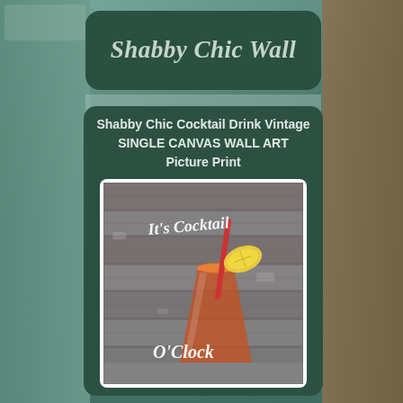[Figure (logo): Shabby Chic Wall brand logo on dark green rounded rectangle background with stylized italic white text]
Shabby Chic Cocktail Drink Vintage SINGLE CANVAS WALL ART Picture Print
[Figure (photo): Canvas wall art print showing a cocktail drink glass with orange/red drink, a straw, and lemon slice on a rustic grey wood plank background with text 'It's Cocktail O'Clock']